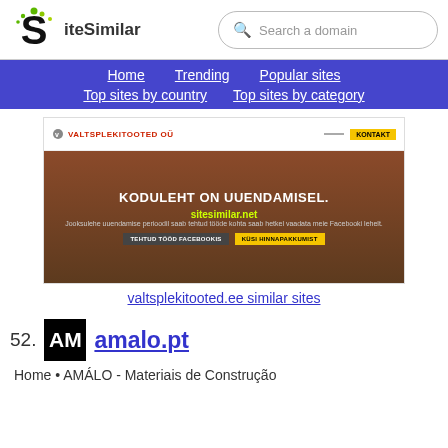[Figure (logo): SiteSimilar logo with stylized S and green dots]
Search a domain
Home   Trending   Popular sites   Top sites by country   Top sites by category
[Figure (screenshot): Screenshot of valtsplekitooted.ee website showing KODULEHT ON UUENDAMISEL message with sitesimilar.net watermark]
valtsplekitooted.ee similar sites
52.
[Figure (logo): AM logo in black square for amalo.pt]
amalo.pt
Home • AMÁLO - Materiais de Construção